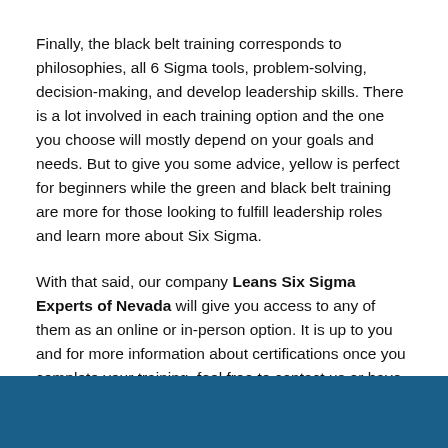Finally, the black belt training corresponds to philosophies, all 6 Sigma tools, problem-solving, decision-making, and develop leadership skills. There is a lot involved in each training option and the one you choose will mostly depend on your goals and needs. But to give you some advice, yellow is perfect for beginners while the green and black belt training are more for those looking to fulfill leadership roles and learn more about Six Sigma.
With that said, our company Leans Six Sigma Experts of Nevada will give you access to any of them as an online or in-person option. It is up to you and for more information about certifications once you complete your training, feel free to contact us or have a look at our website and services.